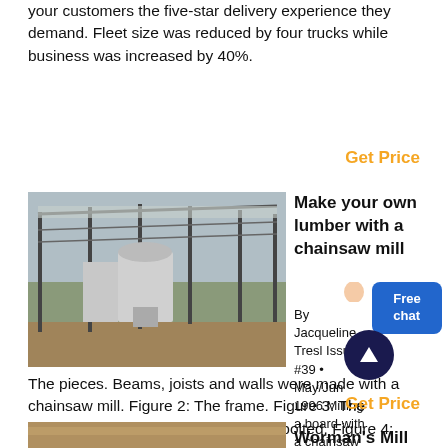your customers the five-star delivery experience they demand. Fleet size was reduced by four trucks while business was increased by 40%.
Get Price
[Figure (photo): Industrial building/facility with steel frame structure and machinery inside, photographed outdoors]
Make your own lumber with a chainsaw mill
By Jacqueline Tresl Issue #39 • May/Jun 1996 Milling a board with a chainsaw lumber-maker. Figure1:
The pieces. Beams, joists and walls were made with a chainsaw mill. Figure 2: The frame. Figure 3: The surface to which the chainsaw bar is bolted. Figure 4: The assembled mill
Get Price
[Figure (photo): Partial view of bottom image]
Worman's Mill